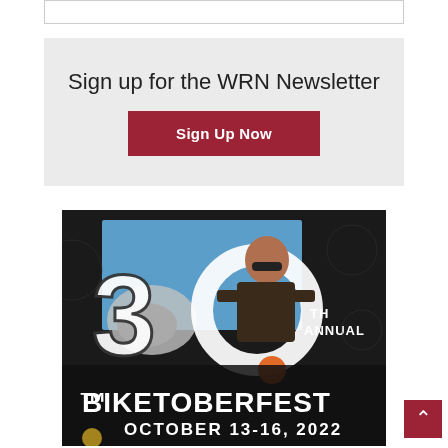Sign up for the WRN Newsletter
Sign Up Now
[Figure (illustration): Biketoberfest 30th Annual October 13-16, 2022 promotional poster featuring a woman motorcyclist on a dark background with large '30' text]